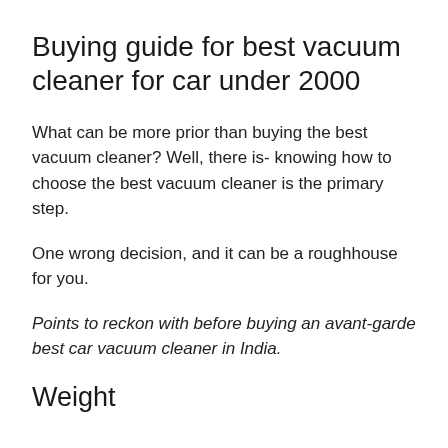Buying guide for best vacuum cleaner for car under 2000
What can be more prior than buying the best vacuum cleaner? Well, there is- knowing how to choose the best vacuum cleaner is the primary step.
One wrong decision, and it can be a roughhouse for you.
Points to reckon with before buying an avant-garde best car vacuum cleaner in India.
Weight